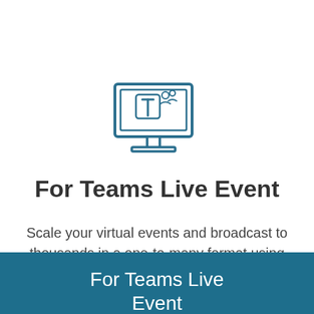[Figure (illustration): Icon of a desktop computer monitor with the Microsoft Teams logo (T with camera/video icon) displayed on screen, drawn in teal/dark blue outline style]
For Teams Live Event
Scale your virtual events and broadcast to thousands in a one-to-many format using the power of Microsoft Teams Live Event and EventBuilder.
For Teams Live Event